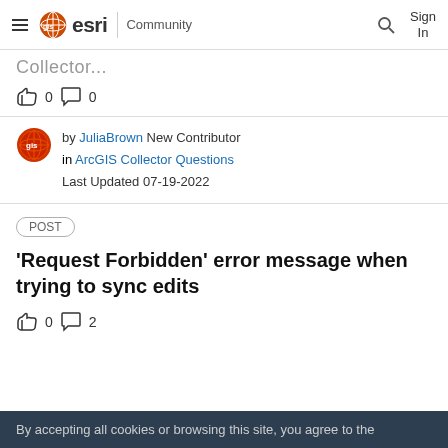esri Community
Collector
👍 0 💬 0
by JuliaBrown New Contributor in ArcGIS Collector Questions Last Updated 07-19-2022
POST
'Request Forbidden' error message when trying to sync edits
👍 0 💬 2
By accepting all cookies or browsing this site, you agree to the